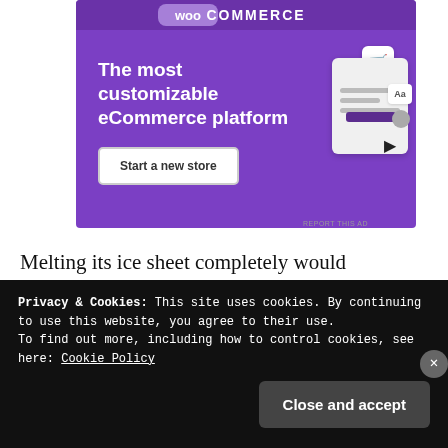[Figure (advertisement): WooCommerce advertisement banner with purple background. Shows WooCommerce logo at top, headline 'The most customizable eCommerce platform', a 'Start a new store' button, and a UI mockup illustration on the right side.]
REPORT THIS AD
Melting its ice sheet completely would eventually raise global sea level by 7 metres. In the event this happens, the Netherlands would be completely wiped out.
Privacy & Cookies: This site uses cookies. By continuing to use this website, you agree to their use.
To find out more, including how to control cookies, see here: Cookie Policy